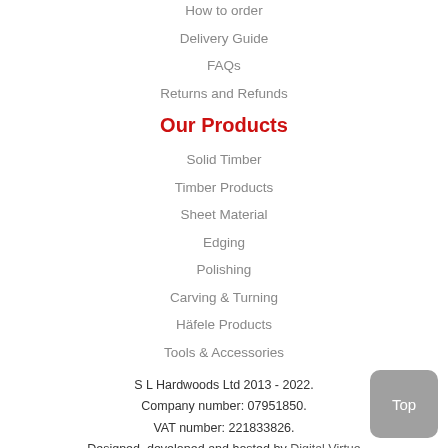How to order
Delivery Guide
FAQs
Returns and Refunds
Our Products
Solid Timber
Timber Products
Sheet Material
Edging
Polishing
Carving & Turning
Häfele Products
Tools & Accessories
S L Hardwoods Ltd 2013 - 2022.
Company number: 07951850.
VAT number: 221833826.
Designed, developed and hosted by Digital Virtue